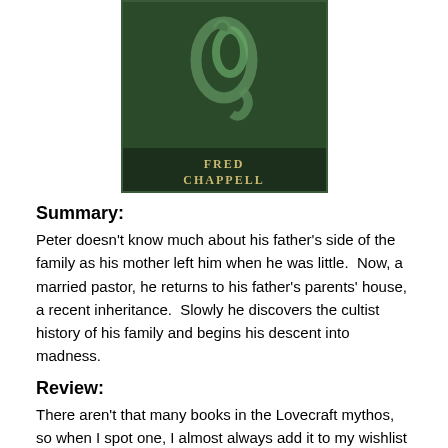[Figure (illustration): Book cover showing a dark green textured background with a snake or serpentine figure, and the author name FRED CHAPPELL at the bottom]
Summary:
Peter doesn't know much about his father's side of the family as his mother left him when he was little.  Now, a married pastor, he returns to his father's parents' house, a recent inheritance.  Slowly he discovers the cultist history of his family and begins his descent into madness.
Review:
There aren't that many books in the Lovecraft mythos, so when I spot one, I almost always add it to my wishlist and pick it up if I spot it.  (I'm a big fan of the mythos, and my current work in progress is set in it).  I spotted this one